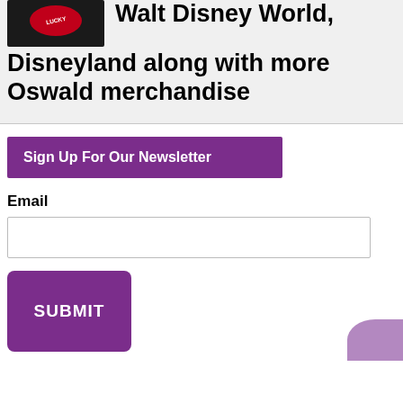[Figure (photo): A black merchandise item with a red circular badge/button showing text 'LUCKY']
Walt Disney World, Disneyland along with more Oswald merchandise
Sign Up For Our Newsletter
Email
SUBMIT